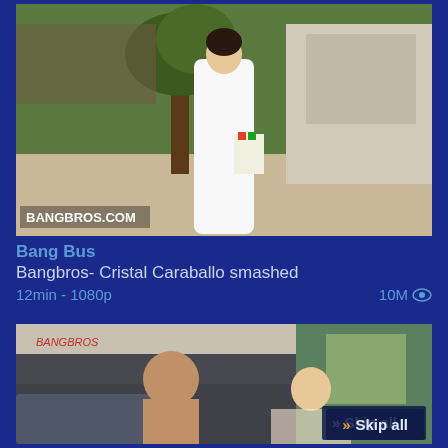[Figure (photo): Thumbnail image of a woman in white dress standing outside near a tree, with BANGBROS.COM watermark]
Bang Bus
Bangbros- Cristal Caraballo smashed
12min - 1080p
10M
[Figure (photo): Thumbnail image of two people inside a van interior]
» Skip all